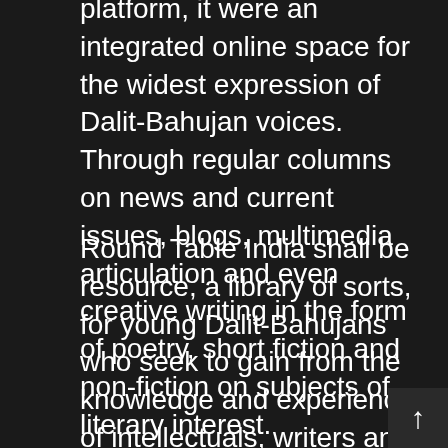platform, it were an integrated online space for the widest expression of Dalit-Bahujan voices. Through regular columns on news and current issues, blogs, multimedia articulation and even creative writing in the form of poetry, short fiction and non-fiction on subjects of literary interest.
Round Table India shall be resource, a library of sorts, for young Dalit-Bahujans who seek to gain from the knowledge and experience of intellectuals, writers and activists of a similar background. It shall also make available for them the writings of such pioneering thinkers as Dr. Ambedkar and Phule, and help them delve into Dalit history, events, movements and personalities to understand the current age